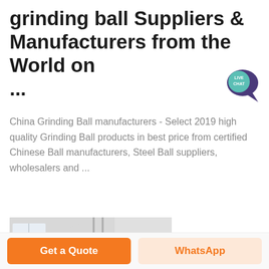grinding ball Suppliers & Manufacturers from the World on ...
[Figure (other): Live chat speech bubble badge with text LIVE CHAT in teal/purple color]
China Grinding Ball manufacturers - Select 2019 high quality Grinding Ball products in best price from certified Chinese Ball manufacturers, Steel Ball suppliers, wholesalers and ...
[Figure (photo): Photo of industrial grinding/crushing machine equipment in a factory setting, white cone-shaped machine with blue cylinder component on a platform]
Get a Quote
WhatsApp